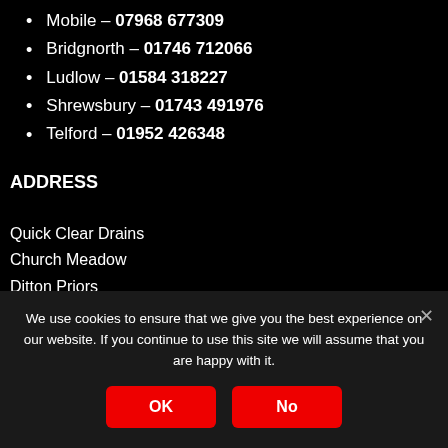Mobile – 07968 677309
Bridgnorth – 01746 712066
Ludlow – 01584 318227
Shrewsbury – 01743 491976
Telford – 01952 426348
ADDRESS
Quick Clear Drains
Church Meadow
Ditton Priors
Bridgnorth
We use cookies to ensure that we give you the best experience on our website. If you continue to use this site we will assume that you are happy with it.